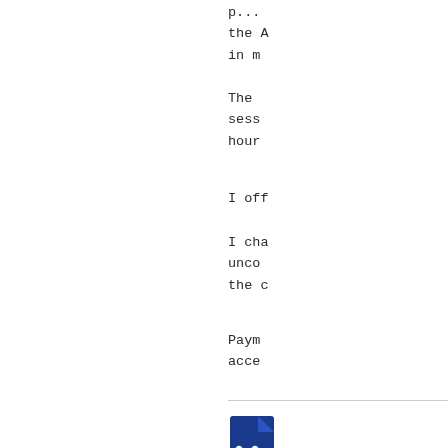p... the A in m
The sess hour
I off
I cha unco the c
Paym acce
[Figure (other): Document icon with waveform/signature graphic, dark blue color]